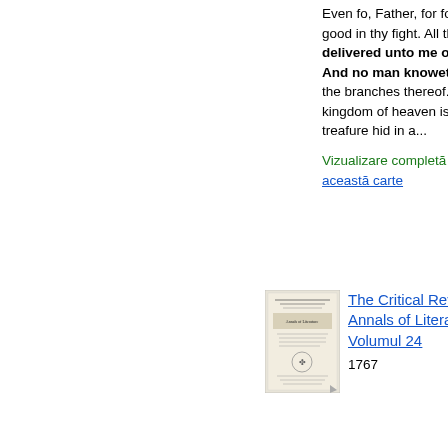Even fo, Father, for fo it feemed good in thy fight. All things are delivered unto me of my Father. And no man knoweth the fon, but the branches thereof. * * * Again, the kingdom of heaven is like unto a treafure hid in a...
Vizualizare completă - Despre această carte
[Figure (illustration): Small book cover thumbnail for The Critical Review, Or, Annals of Literature, Volumul 24]
The Critical Review, Or, Annals of Literature, Volumul 24
1767